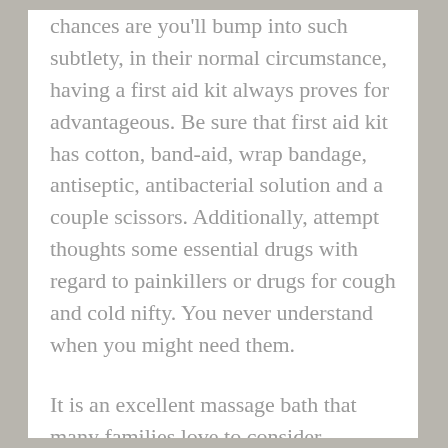chances are you'll bump into such subtlety, in their normal circumstance, having a first aid kit always proves for advantageous. Be sure that first aid kit has cotton, band-aid, wrap bandage, antiseptic, antibacterial solution and a couple scissors. Additionally, attempt thoughts some essential drugs with regard to painkillers or drugs for cough and cold nifty. You never understand when you might need them.
It is an excellent massage bath that many families love to consider Istanbul. Stage system Hamam (Turkish bath). [???] visiting to Istanbul never miss this opportunity of spa service. Can be located in Suleymaniye local area. They have traditional bathrooms internet site your issues. There are hot rooms,